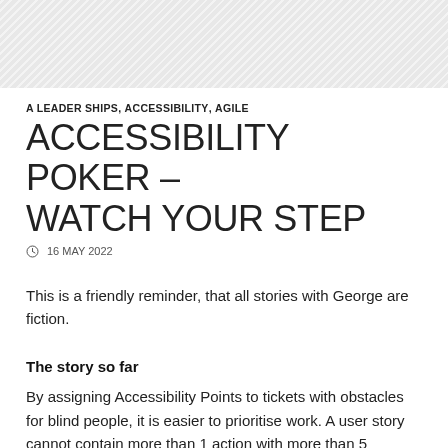[Figure (other): Hatched/diagonal striped grey header banner]
A LEADER SHIPS, ACCESSIBILITY, AGILE
ACCESSIBILITY POKER – WATCH YOUR STEP
16 MAY 2022
This is a friendly reminder, that all stories with George are fiction.
The story so far
By assigning Accessibility Points to tickets with obstacles for blind people, it is easier to prioritise work. A user story cannot contain more than 1 action with more than 5 Accessibility Points. This means...